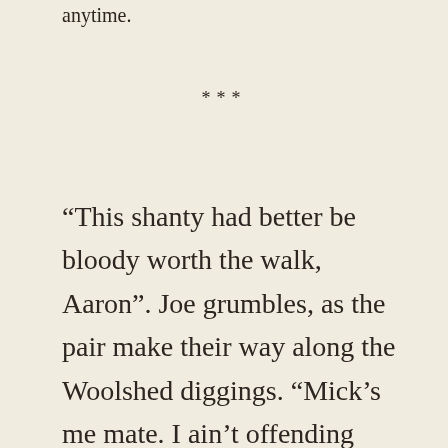anytime.
***
“This shanty had better be bloody worth the walk, Aaron”. Joe grumbles, as the pair make their way along the Woolshed diggings. “Mick’s me mate. I ain’t offending him by splashing me coin around